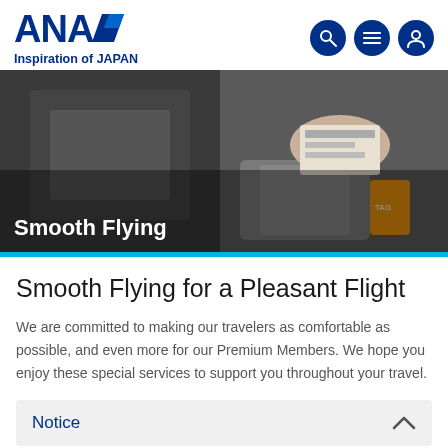[Figure (logo): ANA (All Nippon Airways) logo with blue text and diagonal stripe, with tagline 'Inspiration of JAPAN' below]
[Figure (other): Three dark navy circular icon buttons: search/magnifier, menu/hamburger, and user/profile icons]
[Figure (photo): Hero photograph showing a person handling a boarding pass and luggage tag over a suitcase, overlaid with text 'Smooth Flying']
Smooth Flying for a Pleasant Flight
We are committed to making our travelers as comfortable as possible, and even more for our Premium Members. We hope you enjoy these special services to support you throughout your travel.
Notice